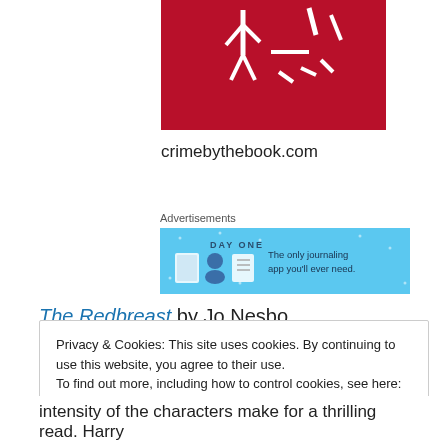[Figure (illustration): Book cover for a crime novel on crimebythebook.com — red background with white illustrated figures]
crimebythebook.com
Advertisements
[Figure (screenshot): Day One app advertisement banner — blue background with icons of a book, person, and notebook, text: 'The only journaling app you'll ever need.']
The Redbreast by Jo Nesbo
Privacy & Cookies: This site uses cookies. By continuing to use this website, you agree to their use.
To find out more, including how to control cookies, see here: Cookie Policy
[Close and accept button]
intensity of the characters make for a thrilling read. Harry